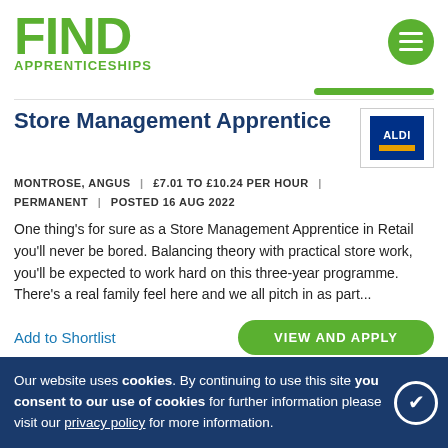FIND APPRENTICESHIPS
Store Management Apprentice
MONTROSE, ANGUS | £7.01 TO £10.24 PER HOUR | PERMANENT | POSTED 16 AUG 2022
One thing's for sure as a Store Management Apprentice in Retail you'll never be bored. Balancing theory with practical store work, you'll be expected to work hard on this three-year programme. There's a real family feel here and we all pitch in as part...
Add to Shortlist
VIEW AND APPLY
Store
JOHNSTONE, RENFREWSHIRE |
Our website uses cookies. By continuing to use this site you consent to our use of cookies for further information please visit our privacy policy for more information.